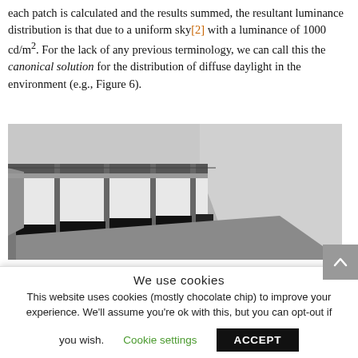each patch is calculated and the results summed, the resultant luminance distribution is that due to a uniform sky[2] with a luminance of 1000 cd/m². For the lack of any previous terminology, we can call this the canonical solution for the distribution of diffuse daylight in the environment (e.g., Figure 6).
[Figure (photo): Grayscale rendering of an interior room with large windows along the left wall showing bright daylight, black lower panels below the windows, white walls, and a perspective view toward the far wall and corner.]
We use cookies
This website uses cookies (mostly chocolate chip) to improve your experience. We'll assume you're ok with this, but you can opt-out if you wish.
Cookie settings   ACCEPT